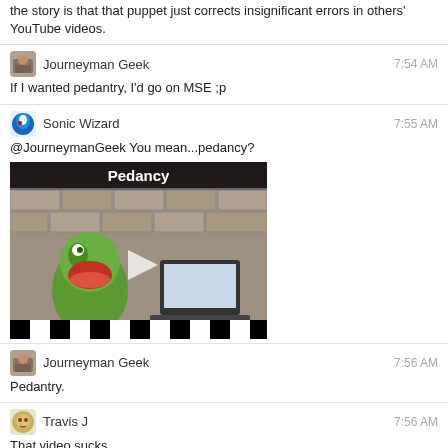the story is that that puppet just corrects insignificant errors in others' YouTube videos.
Journeyman Geek
7:54 AM
If I wanted pedantry, I'd go on MSE ;p
Sonic Wizard
7:55 AM
@JourneymanGeek You mean...pedancy?
[Figure (screenshot): YouTube video thumbnail with title 'Pedancy' showing a green muppet-like puppet with a play button overlay]
Journeyman Geek
7:56 AM
Pedantry.
Travis J
7:56 AM
That video sucks.
Link me a parody next time.
If I was going to use a dialtone I would have at least stopped at the point gravity stops near the north pole. Not that you can get there on this flat planet!
But whatever, whot was the 5th point of that video? It makes me not want to watch